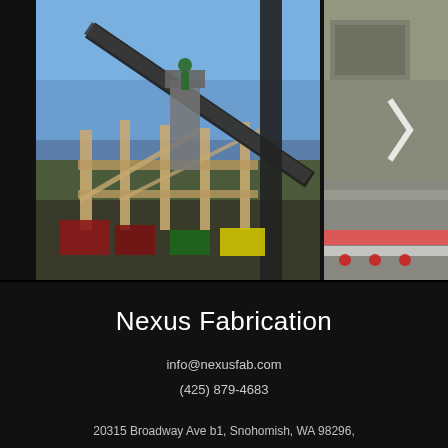[Figure (photo): Construction site photo: worker on scissor lift installing large steel beam, wooden frame structure, blue sky background. Second smaller photo showing flatbed truck with steel materials and a dumpster.]
Nexus Fabrication
info@nexusfab.com
(425) 879-4683
20315 Broadway Ave b1, Snohomish, WA 98296,